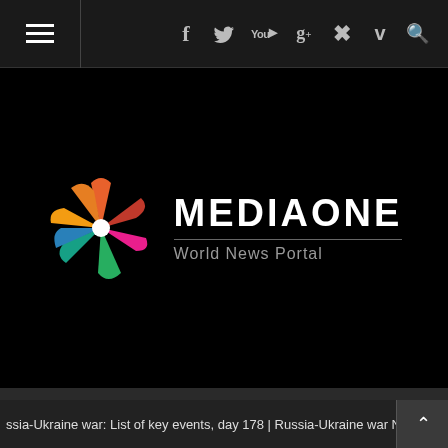[Figure (screenshot): MediaOne World News Portal website header. Top navigation bar with hamburger menu icon on left and social media icons (Facebook, Twitter, YouTube, Google+, Pinterest, Vimeo, Search) on right. Large black area with MediaOne logo (colorful star/flower icon) and text 'MEDIAONE / World News Portal'. Menu bar with hamburger icon and 'Menu' text and chevron. Bottom ticker bar showing 'ssia-Ukraine war: List of key events, day 178 | Russia-Ukraine war News']